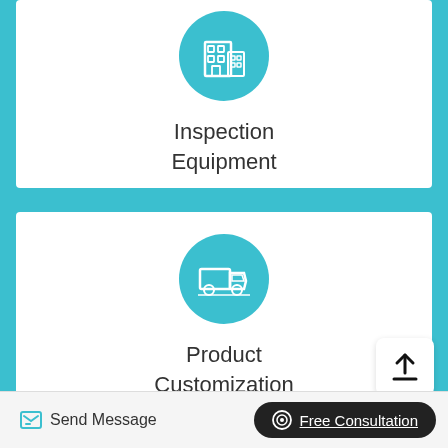[Figure (illustration): Teal circle icon with white building/office icon inside]
Inspection
Equipment
[Figure (illustration): Teal circle icon with white delivery truck icon inside]
Product
Customization
[Figure (other): Upload/share button icon (arrow pointing up from a line)]
Send Message | Free Consultation